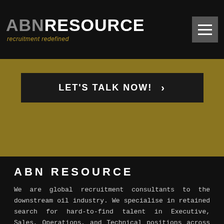ABN RESOURCE — recruitment redefined
LET'S TALK NOW!
ABN RESOURCE
We are global recruitment consultants to the downstream oil industry. We specialise in retained search for hard-to-find talent in Executive, Sales, Operations, and Technical positions across Lubricants & Fuels markets.